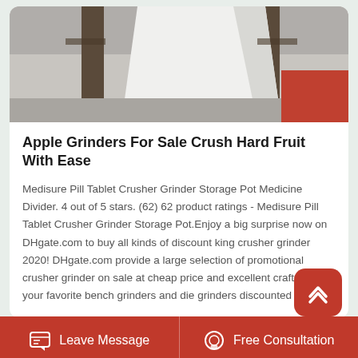[Figure (photo): Product photo showing industrial equipment - appears to be a grinder or crusher machine on a concrete floor]
Apple Grinders For Sale Crush Hard Fruit With Ease
Medisure Pill Tablet Crusher Grinder Storage Pot Medicine Divider. 4 out of 5 stars. (62) 62 product ratings - Medisure Pill Tablet Crusher Grinder Storage Pot.Enjoy a big surprise now on DHgate.com to buy all kinds of discount king crusher grinder 2020! DHgate.com provide a large selection of promotional crusher grinder on sale at cheap price and excellent crafts. See your favorite bench grinders and die grinders discounted on sale.
[Figure (photo): Partial view of a product/building image with blue and red color tones]
Leave Message
Free Consultation